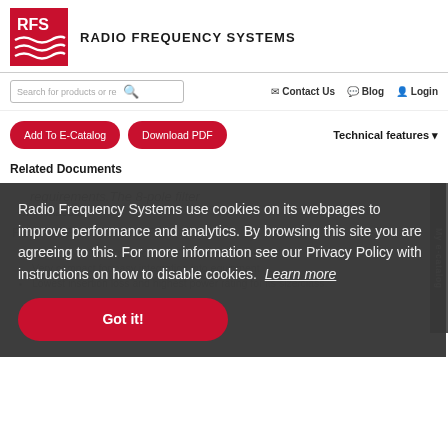[Figure (logo): RFS Radio Frequency Systems red and white logo with wave lines]
RADIO FREQUENCY SYSTEMS
Search for products or re | Contact Us | Blog | Login
Add To E-Catalog
Download PDF
Technical features
Related Documents
requirements.The 8-pole filter
8PPXX200E
FEATURES / BENEFITS
ements plus extra protection for adjacent channels.
Very compact for easy integration into equipment
Lowest insertion loss and highest power rating for its size/class.
Radio Frequency Systems use cookies on its webpages to improve performance and analytics. By browsing this site you are agreeing to this. For more information see our Privacy Policy with instructions on how to disable cookies. Learn more
Got it!